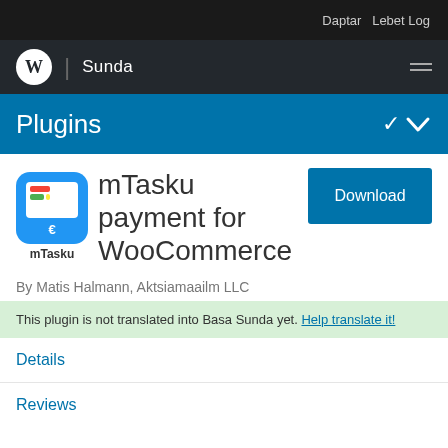Daptar  Lebet Log
Sunda
Plugins
mTasku payment for WooCommerce
By Matis Halmann, Aktsiamaailm LLC
This plugin is not translated into Basa Sunda yet. Help translate it!
Details
Reviews